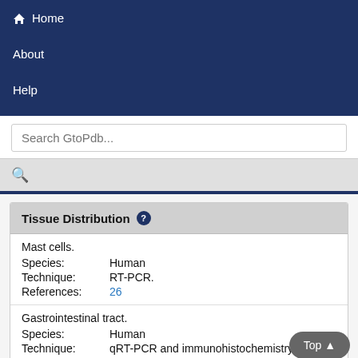Home
About
Help
Search GtoPdb...
Tissue Distribution
Mast cells.
Species: Human
Technique: RT-PCR.
References: 26
Gastrointestinal tract.
Species: Human
Technique: qRT-PCR and immunohistochemistry.